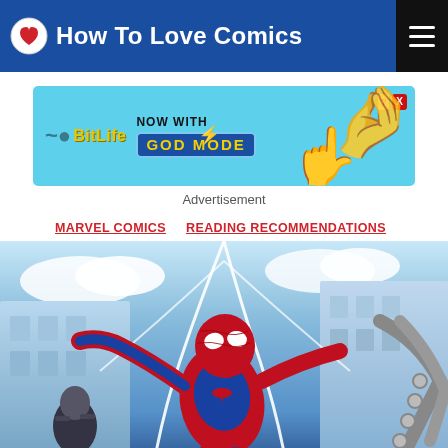How To Love Comics
[Figure (illustration): BitLife advertisement banner: light blue background with BitLife logo in yellow, text 'NOW WITH GOD MODE', pointing hand graphic, close buttons top right]
Advertisement
MARVEL COMICS    READING RECOMMENDATIONS
[Figure (illustration): Spider-Man action comic book cover art: Spider-Man in red and blue suit swinging with web lines, against a dynamic blue sky with buildings and clouds, Doctor Octopus tentacles visible on right]